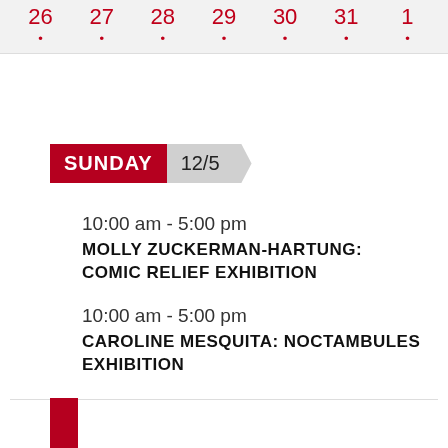| 26 | 27 | 28 | 29 | 30 | 31 | 1 |
| --- | --- | --- | --- | --- | --- | --- |
| • | • | • | • | • | • | • |
SUNDAY 12/5
10:00 am - 5:00 pm
MOLLY ZUCKERMAN-HARTUNG: COMIC RELIEF EXHIBITION
10:00 am - 5:00 pm
CAROLINE MESQUITA: NOCTAMBULES EXHIBITION